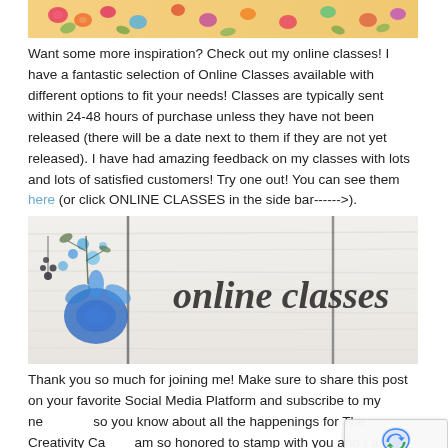[Figure (illustration): Colorful floral watercolor banner image at the top with orange, pink, red, and blue flowers]
Want some more inspiration?  Check out my online classes!  I have a fantastic selection of Online Classes available with different options to fit your needs!  Classes are typically sent within 24-48 hours of purchase unless they have not been released (there will be a date next to them if they are not yet released).  I have had amazing feedback on my classes with lots and lots of satisfied customers!  Try one out! You can see them here (or click ONLINE CLASSES in the side bar------>).
[Figure (illustration): White wooden plank background with blue watercolor floral design on the left and cursive text 'online classes' in dark gray/black on the right]
Thank you so much for joining me!  Make sure to share this post on your favorite Social Media Platform and subscribe to my newsletter so you know about all the happenings for The Creativity Cave!  I am so honored to stamp with you and I am grateful for your continued support!!